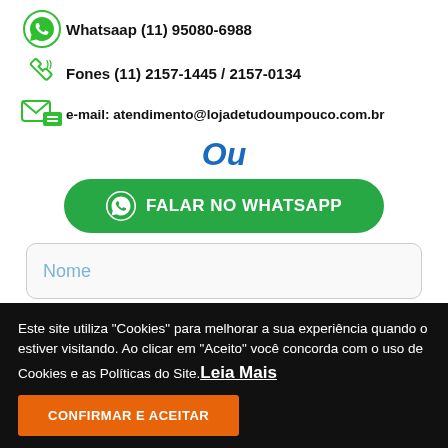Whatsaap (11) 95080-6988
Fones (11) 2157-1445 / 2157-0134
e-mail: atendimento@lojadetudoumpouco.com.br
Ou
FALAR NO WHATSAPP
Nome
Este site utiliza "Cookies" para melhorar a sua experiência quando o estiver visitando. Ao clicar em "Aceito" você concorda com o uso de Cookies e as Políticas do Site. Leia Mais
CONFIRMAR E ACEITAR